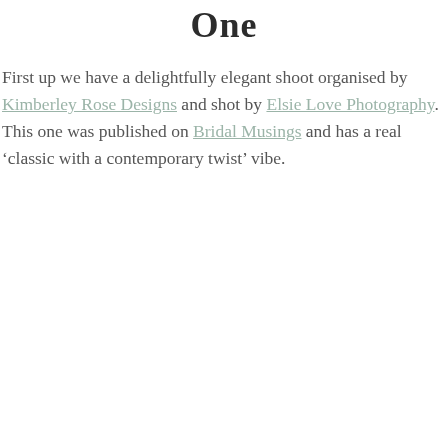One
First up we have a delightfully elegant shoot organised by Kimberley Rose Designs and shot by Elsie Love Photography. This one was published on Bridal Musings and has a real ‘classic with a contemporary twist’ vibe.